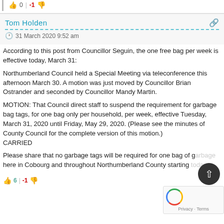👍 0 | -1 👎
Tom Holden
31 March 2020 9:52 am
According to this post from Councillor Seguin, the one free bag per week is effective today, March 31:

Northumberland Council held a Special Meeting via teleconference this afternoon March 30. A motion was just moved by Councillor Brian Ostrander and seconded by Councillor Mandy Martin.

MOTION: That Council direct staff to suspend the requirement for garbage bag tags, for one bag only per household, per week, effective Tuesday, March 31, 2020 until Friday, May 29, 2020. (Please see the minutes of County Council for the complete version of this motion.)
CARRIED

Please share that no garbage tags will be required for one bag of garbage here in Cobourg and throughout Northumberland County starting today.
👍 6 | -1 👎